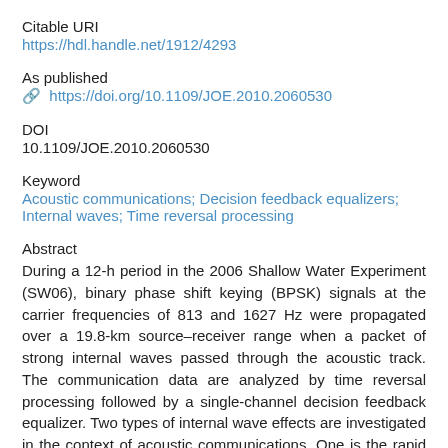Citable URI
https://hdl.handle.net/1912/4293
As published
https://doi.org/10.1109/JOE.2010.2060530
DOI
10.1109/JOE.2010.2060530
Keyword
Acoustic communications; Decision feedback equalizers; Internal waves; Time reversal processing
Abstract
During a 12-h period in the 2006 Shallow Water Experiment (SW06), binary phase shift keying (BPSK) signals at the carrier frequencies of 813 and 1627 Hz were propagated over a 19.8-km source–receiver range when a packet of strong internal waves passed through the acoustic track. The communication data are analyzed by time reversal processing followed by a single-channel decision feedback equalizer. Two types of internal wave effects are investigated in the context of acoustic communications. One is the rapid channel fluctuation within 90-s data packets. It can be